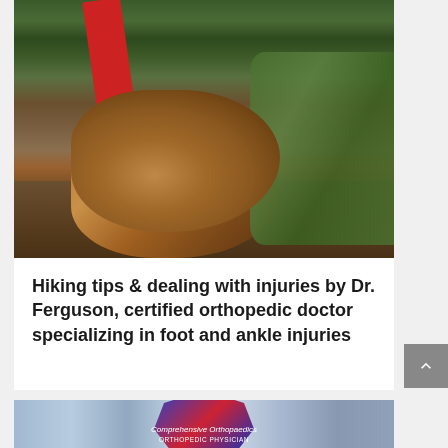[Figure (photo): Close-up photo of a hiker's boot on a rocky forest trail, with green ferns visible on the right and a red hiking pole on the left.]
Hiking tips & dealing with injuries by Dr. Ferguson, certified orthopedic doctor specializing in foot and ankle injuries
[Figure (photo): Photo of a crystal award plaque for Comprehensive Orthopaedics Orthopedic Physician against a blue sky background.]